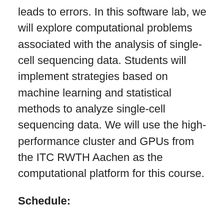leads to errors. In this software lab, we will explore computational problems associated with the analysis of single-cell sequencing data. Students will implement strategies based on machine learning and statistical methods to analyze single-cell sequencing data. We will use the high-performance cluster and GPUs from the ITC RWTH Aachen as the computational platform for this course.
Schedule:
Schedule:
19.04.2021 – Introduction to Bioinformatics and Single Cell Sequencing [slides | video]